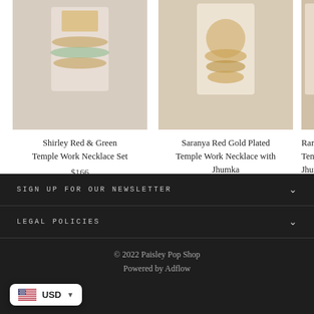[Figure (photo): Woman wearing Shirley Red & Green Temple Work Necklace Set]
Shirley Red & Green Temple Work Necklace Set
$166
[Figure (photo): Woman wearing Saranya Red Gold Plated Temple Work Necklace with Jhumka]
Saranya Red Gold Plated Temple Work Necklace with Jhumka
$175
[Figure (photo): Woman wearing Ramanya Red Temple Work Necklace with Jhumka (partially visible)]
Ramanya Red Temple Work N... Jhum
$16...
SIGN UP FOR OUR NEWSLETTER
LEGAL POLICIES
© 2022 Paisley Pop Shop
Powered by Adflow
USD